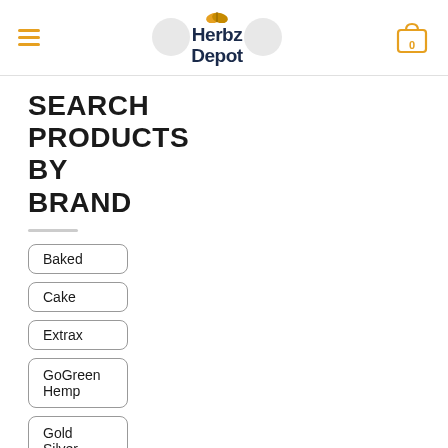Herbz Depot
SEARCH PRODUCTS BY BRAND
Baked
Cake
Extrax
GoGreen Hemp
Gold Silver
Herbz Depot